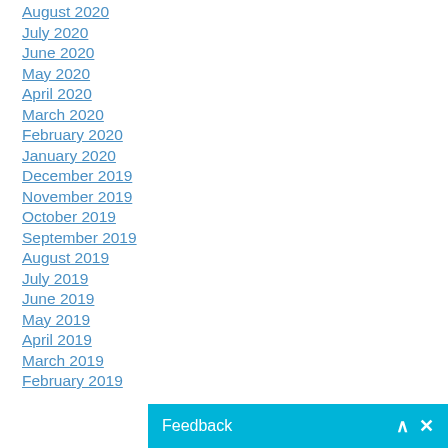August 2020
July 2020
June 2020
May 2020
April 2020
March 2020
February 2020
January 2020
December 2019
November 2019
October 2019
September 2019
August 2019
July 2019
June 2019
May 2019
April 2019
March 2019
February 2019
Feedback